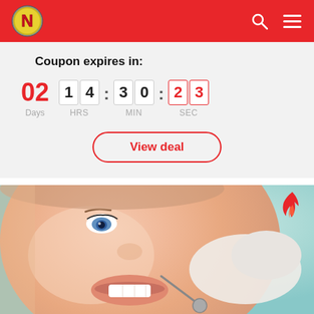[Figure (logo): N logo with red/yellow colors on red header bar with search and menu icons]
Coupon expires in:
02 Days  14 HRS : 30 MIN : 23 SEC
View deal
[Figure (photo): Close-up photo of a woman at the dentist with mouth open, dentist tools visible, blue eyes, and a flame icon in top-right corner]
[Figure (other): White section with red star outline icon at bottom right]